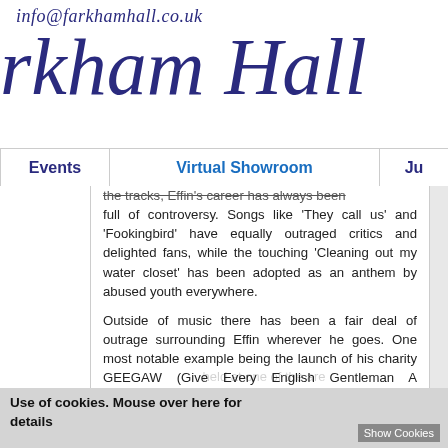info@farkhamhall.co.uk
rkham Hall
Events | Virtual Showroom | Ju
the tracks, Effin's career has always been full of controversy. Songs like 'They call us' and 'Fookingbird' have equally outraged critics and delighted fans, while the touching 'Cleaning out my water closet' has been adopted as an anthem by abused youth everywhere.
Outside of music there has been a fair deal of outrage surrounding Effin wherever he goes. One most notable example being the launch of his charity GEEGAW (Give Every English Gentleman A Whippet), which was set up to re-home retired racing whippets. The grand ball to celebrate and
Use of cookies. Mouse over here for details